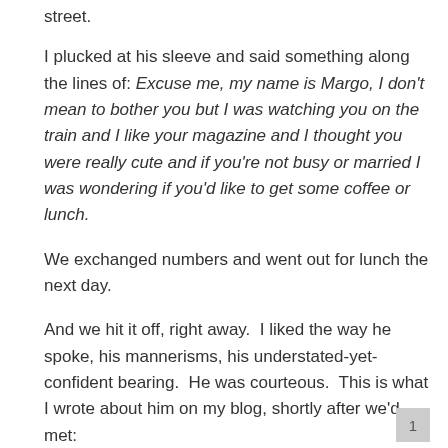street.
I plucked at his sleeve and said something along the lines of: Excuse me, my name is Margo, I don't mean to bother you but I was watching you on the train and I like your magazine and I thought you were really cute and if you're not busy or married I was wondering if you'd like to get some coffee or lunch.
We exchanged numbers and went out for lunch the next day.
And we hit it off, right away.  I liked the way he spoke, his mannerisms, his understated-yet-confident bearing.  He was courteous.  This is what I wrote about him on my blog, shortly after we'd met:
1